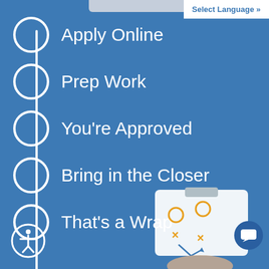Select Language »
Apply Online
Prep Work
You're Approved
Bring in the Closer
That's a Wrap
[Figure (illustration): Clipboard with a playbook diagram showing X and O markers with arrows, held by hands, representing a strategy guide]
[Figure (illustration): Accessibility icon — person in circle]